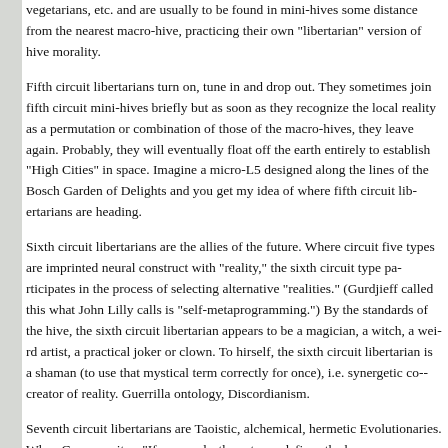vegetarians, etc. and are usually to be found in mini-hives some distance from the nearest macro-hive, practicing their own "libertarian" version of hive morality.
Fifth circuit libertarians turn on, tune in and drop out. They sometimes join fifth circuit mini-hives briefly but as soon as they recognize the local reality as a permutation or combination of those of the macro-hives, they leave again. Probably, they will eventually float off the earth entirely to establish "High Cities" in space. Imagine a micro-L5 designed along the lines of the Bosch Garden of Delights and you get my idea of where fifth circuit libertarians are heading.
Sixth circuit libertarians are the allies of the future. Where circuit five types are imprinted neural construct with "reality," the sixth circuit type participates in the process of selecting alternative "realities." (Gurdjieff called this what John Lilly calls is "self-metaprogramming.") By the standards of the hive, the sixth circuit libertarian appears to be a magician, a witch, a weird artist, a practical joker or clown. To hirself, the sixth circuit libertarian is a shaman (to use that mystical term correctly for once), i.e. synergetic co-creator of reality. Guerrilla ontology, Discordianism.
Seventh circuit libertarians are Taoistic, alchemical, hermetic Evolutionaries. When Camus writes, "If a mass death sentence defines the h...